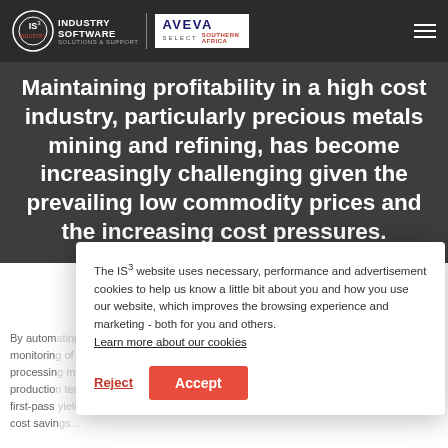IS3 Industry Software Solutions & Support | AVEVA SELECT Southern Africa | navigation bar
Maintaining profitability in a high cost industry, particularly precious metals mining and refining, has become increasingly challenging given the prevailing low commodity prices and the increasing cost pressures.
By autom... monitoring... processing... production... first-pass... cost saving... precious metals from mine to market
The IS³ website uses necessary, performance and advertisement cookies to help us know a little bit about you and how you use our website, which improves the browsing experience and marketing - both for you and others. Learn more about our cookies